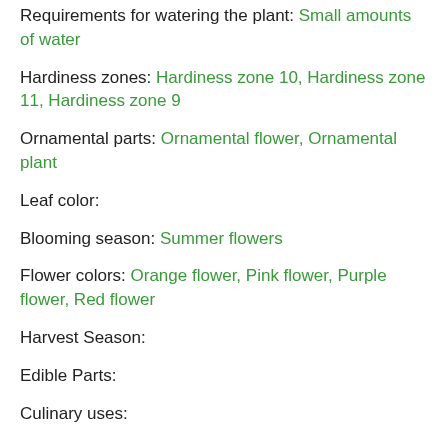Requirements for watering the plant: Small amounts of water
Hardiness zones: Hardiness zone 10, Hardiness zone 11, Hardiness zone 9
Ornamental parts: Ornamental flower, Ornamental plant
Leaf color:
Blooming season: Summer flowers
Flower colors: Orange flower, Pink flower, Purple flower, Red flower
Harvest Season:
Edible Parts:
Culinary uses: